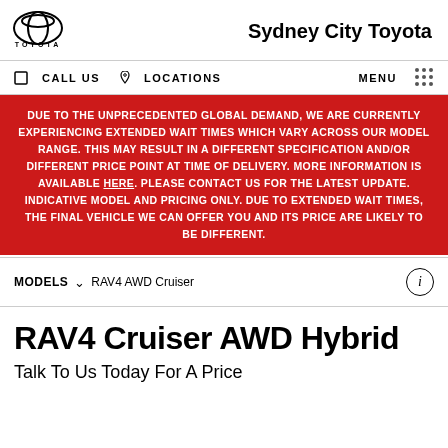[Figure (logo): Toyota circular logo with TOYOTA text below]
Sydney City Toyota
CALL US   LOCATIONS   MENU
DUE TO THE UNPRECEDENTED GLOBAL DEMAND, WE ARE CURRENTLY EXPERIENCING EXTENDED WAIT TIMES WHICH VARY ACROSS OUR MODEL RANGE. THIS MAY RESULT IN A DIFFERENT SPECIFICATION AND/OR DIFFERENT PRICE POINT AT TIME OF DELIVERY. MORE INFORMATION IS AVAILABLE HERE. PLEASE CONTACT US FOR THE LATEST UPDATE. INDICATIVE MODEL AND PRICING ONLY. DUE TO EXTENDED WAIT TIMES, THE FINAL VEHICLE WE CAN OFFER YOU AND ITS PRICE ARE LIKELY TO BE DIFFERENT.
MODELS   RAV4 AWD Cruiser
RAV4 Cruiser AWD Hybrid
Talk To Us Today For A Price